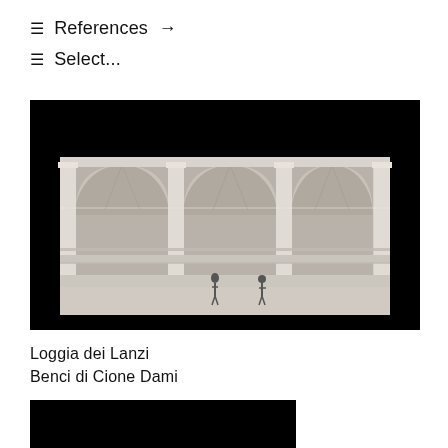≡  References  →
≡  Select...
[Figure (photo): Black and white photograph of an architectural scale model of the Loggia dei Lanzi, showing three large arched bays with Gothic vaulting, ornamental columns and friezes, set against a black background. Small human figures are visible at the base for scale.]
Loggia dei Lanzi
Benci di Cione Dami
[Figure (photo): Partially visible black rectangular image at the bottom of the page, appears to be the top portion of another architectural photograph.]